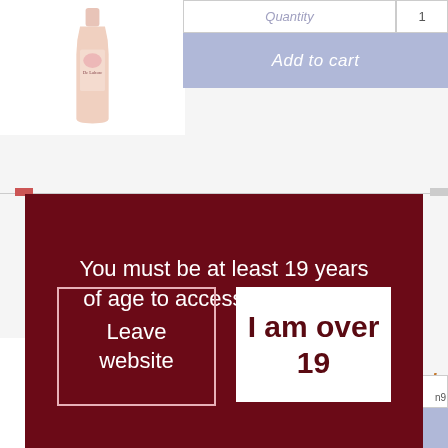[Figure (screenshot): E-commerce website product page showing wine bottle with Add to cart button, partially visible behind age verification modal]
You must be at least 19 years of age to access this website
Leave website
I am over 19